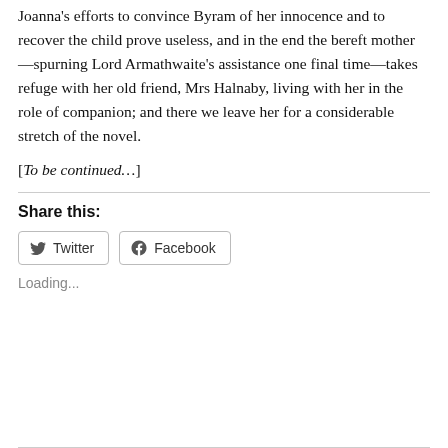Joanna's efforts to convince Byram of her innocence and to recover the child prove useless, and in the end the bereft mother—spurning Lord Armathwaite's assistance one final time—takes refuge with her old friend, Mrs Halnaby, living with her in the role of companion; and there we leave her for a considerable stretch of the novel.
[To be continued…]
Share this:
Twitter  Facebook
Loading...